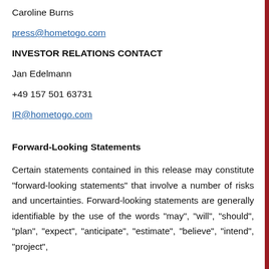Caroline Burns
press@hometogo.com
INVESTOR RELATIONS CONTACT
Jan Edelmann
+49 157 501 63731
IR@hometogo.com
Forward-Looking Statements
Certain statements contained in this release may constitute "forward-looking statements" that involve a number of risks and uncertainties. Forward-looking statements are generally identifiable by the use of the words "may", "will", "should", "plan", "expect", "anticipate", "estimate", "believe", "intend", "project",